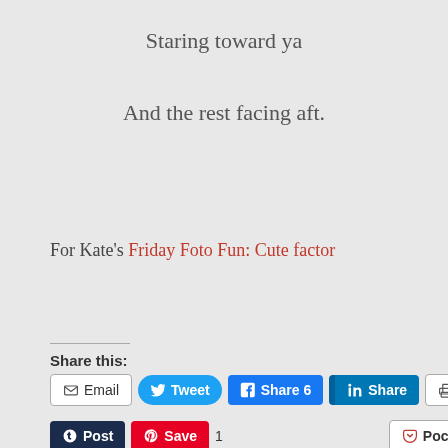Staring toward ya
And the rest facing aft.
For Kate's Friday Foto Fun: Cute factor
Share this:
Email  Tweet  Share 6  Share  Print
Post  Save  1  Pocket  0
WhatsApp